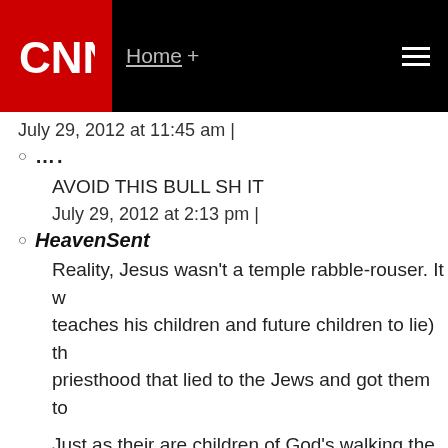CNN — Home +
July 29, 2012 at 11:45 am |
....
AVOID THIS BULL SH IT
July 29, 2012 at 2:13 pm |
HeavenSent
Reality, Jesus wasn't a temple rabble-rouser. It w... teaches his children and future children to lie) th... priesthood that lied to the Jews and got them to...
Just as their are children of God's walking the ea... earth at the same time.
Satan deceives the entire world. Pay attention to...
Revelation 12:7-12
7 And there was war in heaven: Michael and his...